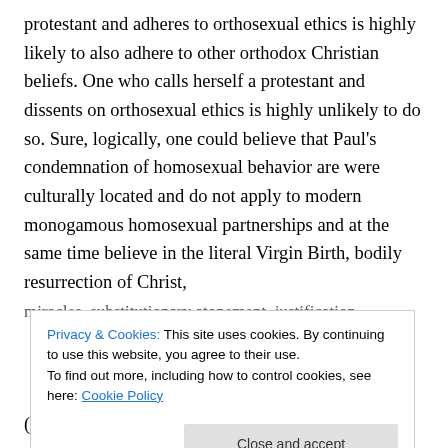protestant and adheres to orthosexual ethics is highly likely to also adhere to other orthodox Christian beliefs. One who calls herself a protestant and dissents on orthosexual ethics is highly unlikely to do so. Sure, logically, one could believe that Paul's condemnation of homosexual behavior are were culturally located and do not apply to modern monogamous homosexual partnerships and at the same time believe in the literal Virgin Birth, bodily resurrection of Christ, miracles, substitutionary atonement, justification
Privacy & Cookies: This site uses cookies. By continuing to use this website, you agree to their use.
To find out more, including how to control cookies, see here: Cookie Policy
(which everyone is talking about these days